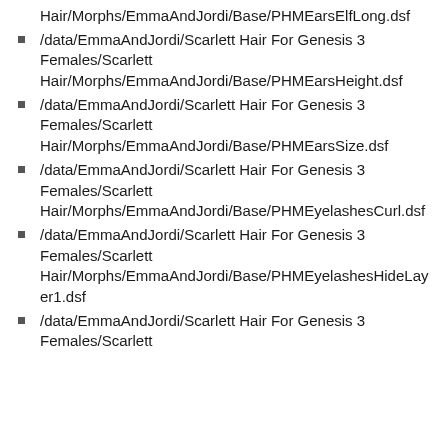Hair/Morphs/EmmaAndJordi/Base/PHMEarsElfLong.dsf
/data/EmmaAndJordi/Scarlett Hair For Genesis 3 Females/Scarlett Hair/Morphs/EmmaAndJordi/Base/PHMEarsHeight.dsf
/data/EmmaAndJordi/Scarlett Hair For Genesis 3 Females/Scarlett Hair/Morphs/EmmaAndJordi/Base/PHMEarsSize.dsf
/data/EmmaAndJordi/Scarlett Hair For Genesis 3 Females/Scarlett Hair/Morphs/EmmaAndJordi/Base/PHMEyelashesCurl.dsf
/data/EmmaAndJordi/Scarlett Hair For Genesis 3 Females/Scarlett Hair/Morphs/EmmaAndJordi/Base/PHMEyelashesHideLayer1.dsf
/data/EmmaAndJordi/Scarlett Hair For Genesis 3 Females/Scarlett